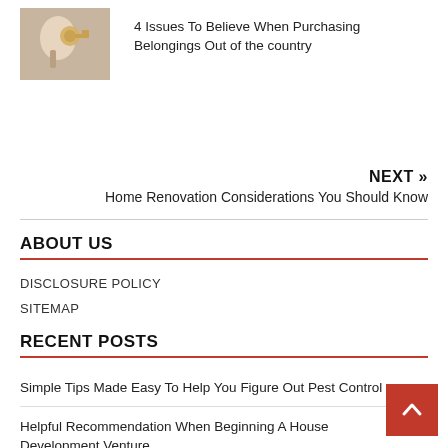[Figure (photo): Hand holding a key near a lock/door]
4 Issues To Believe When Purchasing Belongings Out of the country
NEXT »
Home Renovation Considerations You Should Know
ABOUT US
DISCLOSURE POLICY
SITEMAP
RECENT POSTS
Simple Tips Made Easy To Help You Figure Out Pest Control
Helpful Recommendation When Beginning A House Development Venture